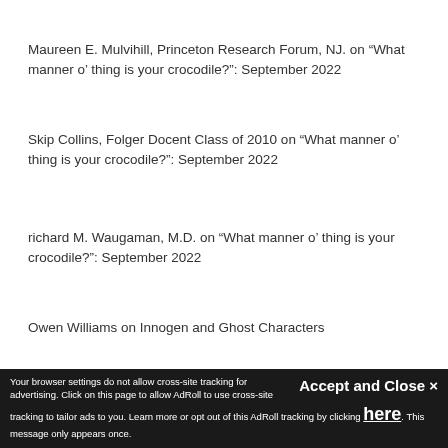Maureen E. Mulvihill, Princeton Research Forum, NJ. on “What manner o’ thing is your crocodile?”: September 2022
Skip Collins, Folger Docent Class of 2010 on “What manner o’ thing is your crocodile?”: September 2022
richard M. Waugaman, M.D. on “What manner o’ thing is your crocodile?”: September 2022
Owen Williams on Innogen and Ghost Characters
[Figure (photo): Profile avatar showing a pink/magenta circular icon with a Shakespeare-like illustration]
folgerlibrary
Home to the world’s largest Shakespeare collection.
Advancing knowledge and the arts. Explore our collection with #FolgerFinds
Accept and Close ×
Your browser settings do not allow cross-site tracking for advertising. Click on this page to allow AdRoll to use cross-site tracking to tailor ads to you. Learn more or opt out of this AdRoll tracking by clicking here. This message only appears once.